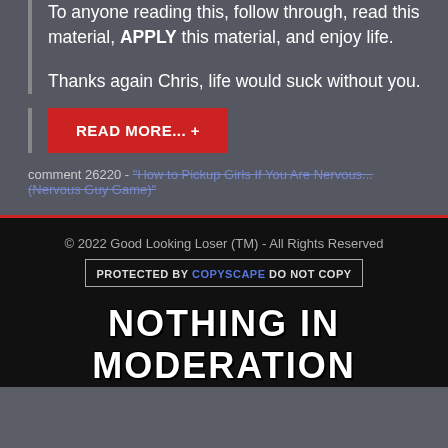To anyone reading this, follow through, read this material, APPLY this material, and enjoy life.

Thanks again Chris, life would suck without you.
READ MORE... +
comment 26220 - "How to Pickup Girls If You Are Nervous... (Nervous Guy Game)"
© 2022 Good Looking Loser (TM) - All Rights Reserved
PROTECTED BY COPYSCAPE DO NOT COPY
NOTHING IN MODERATION